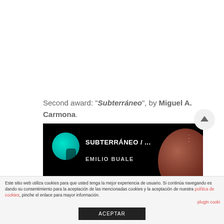Second award: "Subterráneo", by Miguel A. Carmona.
[Figure (screenshot): Music player screenshot showing 'SUBTERRÁNEO / ...' by EMILIO BUALE on a dark background with a teal circle/moon icon, a reddish-brown planet (Mars-like) on the right, and a gray moon at the bottom.]
Este sitio web utiliza cookies para que usted tenga la mejor experiencia de usuario. Si continúa navegando está dando su consentimiento para la aceptación de las mencionadas cookies y la aceptación de nuestra política de cookies, pinche el enlace para mayor información.
·plugin cooki
ACEPTAR